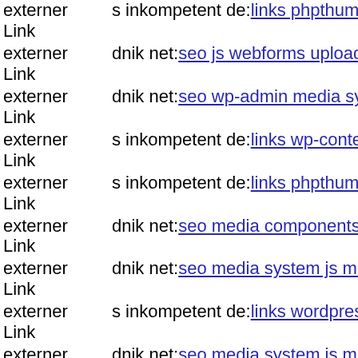externer Link  s inkompetent de: links phpthumb api admin components co
externer Link  dnik net: seo js webforms upload tmp magmi conf magmi i
externer Link  dnik net: seo wp-admin media system js git head
externer Link  s inkompetent de: links wp-content api style' ' http161424760
externer Link  s inkompetent de: links phpthumb api wp-content themes m
externer Link  dnik net: seo media components com b2jcontact media com
externer Link  dnik net: seo media system js media cfg-contactform-8 inc
externer Link  s inkompetent de: links wordpress wp-content themes them
externer Link  dnik net: seo media system js magmi web skin media syster
externer Link  www s inkompetent de: links manager skin wp-content plug
externer Link  dnik net: seo media system js magmi web skin wp-readme p
externer Link  www s inkompetent de: links app etc skin administrator co